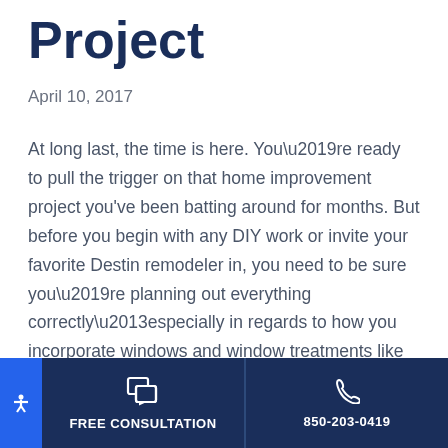Project
April 10, 2017
At long last, the time is here. You’re ready to pull the trigger on that home improvement project you've been batting around for months. But before you begin with any DIY work or invite your favorite Destin remodeler in, you need to be sure you’re planning out everything correctly–especially in regards to how you incorporate windows and window treatments like shutters into your remodel.
FREE CONSULTATION | 850-203-0419